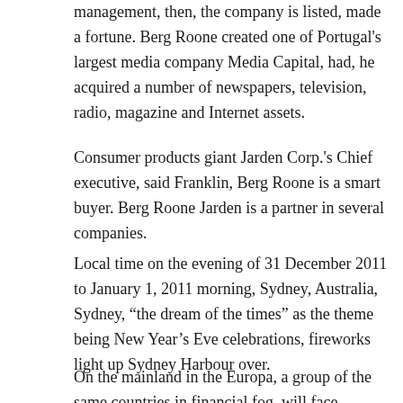management, then, the company is listed, made a fortune. Berg Roone created one of Portugal's largest media company Media Capital, had, he acquired a number of newspapers, television, radio, magazine and Internet assets.
Consumer products giant Jarden Corp.'s Chief executive, said Franklin, Berg Roone is a smart buyer. Berg Roone Jarden is a partner in several companies.
Local time on the evening of 31 December 2011 to January 1, 2011 morning, Sydney, Australia, Sydney, “the dream of the times” as the theme being New Year’s Eve celebrations, fireworks light up Sydney Harbour over.
On the mainland in the Europa, a group of the same countries in financial fog, will face election in 2012, Greece, Iceland, … Europe has become Europe’s debt…